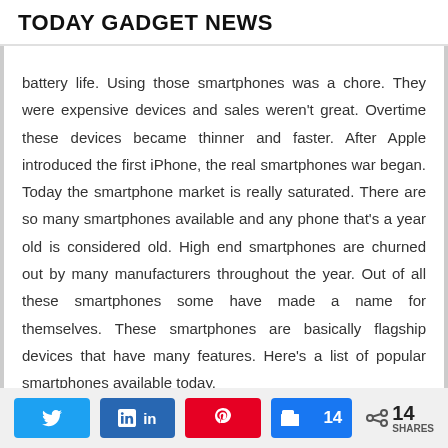TODAY GADGET NEWS
battery life. Using those smartphones was a chore. They were expensive devices and sales weren't great. Overtime these devices became thinner and faster. After Apple introduced the first iPhone, the real smartphones war began. Today the smartphone market is really saturated. There are so many smartphones available and any phone that's a year old is considered old. High end smartphones are churned out by many manufacturers throughout the year. Out of all these smartphones some have made a name for themselves. These smartphones are basically flagship devices that have many features. Here's a list of popular smartphones available today.